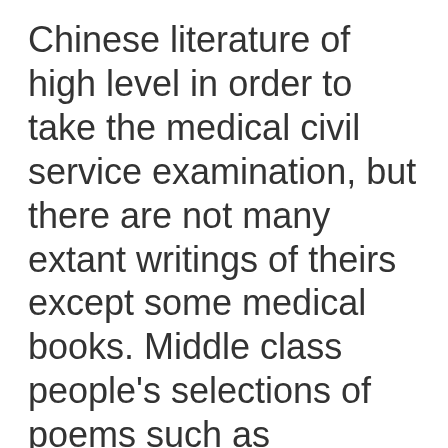Chinese literature of high level in order to take the medical civil service examination, but there are not many extant writings of theirs except some medical books. Middle class people's selections of poems such as Haedongyuju, Sodaepungyo, Pungyosokseon and Pungyosamseon were published, and among the list